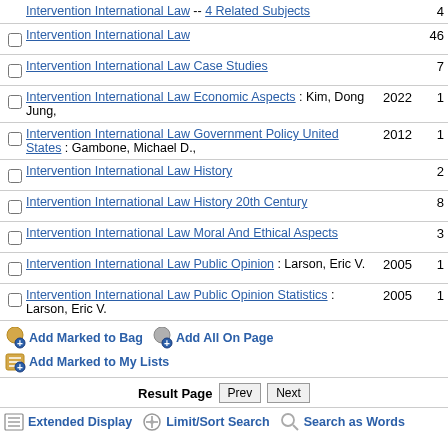Intervention International Law -- 4 Related Subjects  4
Intervention International Law  46
Intervention International Law Case Studies  7
Intervention International Law Economic Aspects : Kim, Dong Jung,  2022  1
Intervention International Law Government Policy United States : Gambone, Michael D.,  2012  1
Intervention International Law History  2
Intervention International Law History 20th Century  8
Intervention International Law Moral And Ethical Aspects  3
Intervention International Law Public Opinion : Larson, Eric V.  2005  1
Intervention International Law Public Opinion Statistics : Larson, Eric V.  2005  1
Add Marked to Bag  Add All On Page  Add Marked to My Lists
Result Page  Prev  Next
Extended Display  Limit/Sort Search  Search as Words